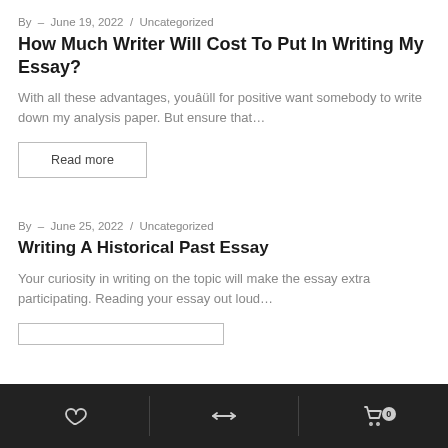By  –  June 19, 2022  /  Uncategorized
How Much Writer Will Cost To Put In Writing My Essay?
With all these advantages, youâll for positive want somebody to write down my analysis paper. But ensure that…
Read more
By  –  June 25, 2022  /  Uncategorized
Writing A Historical Past Essay
Your curiosity in writing on the topic will make the essay extra participating. Reading your essay out loud…
Navigation bar with wishlist, compare, and cart icons